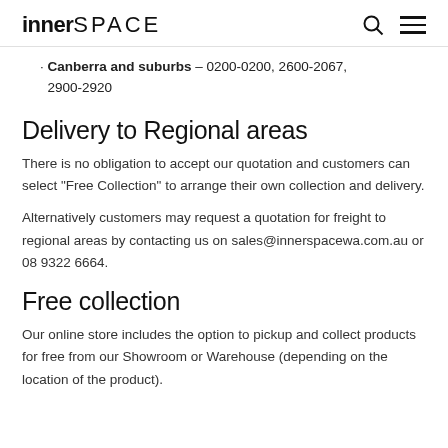innerSPACE
Canberra and suburbs – 0200-0200, 2600-2067, 2900-2920
Delivery to Regional areas
There is no obligation to accept our quotation and customers can select “Free Collection” to arrange their own collection and delivery.
Alternatively customers may request a quotation for freight to regional areas by contacting us on sales@innerspacewa.com.au or 08 9322 6664.
Free collection
Our online store includes the option to pickup and collect products for free from our Showroom or Warehouse (depending on the location of the product).